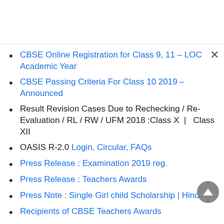CBSE Online Registration for Class 9, 11 – LOC Academic Year
CBSE Passing Criteria For Class 10 2019 – Announced
Result Revision Cases Due to Rechecking / Re-Evaluation / RL / RW / UFM 2018 :Class X  |   Class XII
OASIS R-2.0 Login, Circular, FAQs
Press Release : Examination 2019 reg.
Press Release : Teachers Awards
Press Note : Single Girl child Scholarship | Hindi
Recipients of CBSE Teachers Awards